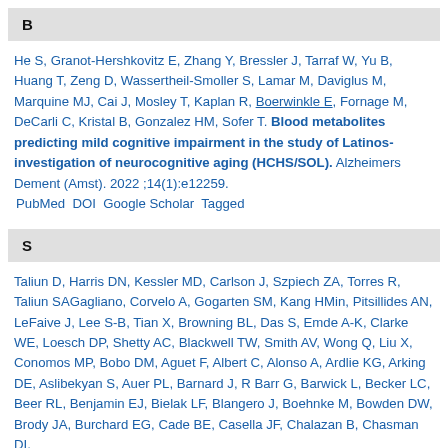B
He S, Granot-Hershkovitz E, Zhang Y, Bressler J, Tarraf W, Yu B, Huang T, Zeng D, Wassertheil-Smoller S, Lamar M, Daviglus M, Marquine MJ, Cai J, Mosley T, Kaplan R, Boerwinkle E, Fornage M, DeCarli C, Kristal B, Gonzalez HM, Sofer T. Blood metabolites predicting mild cognitive impairment in the study of Latinos-investigation of neurocognitive aging (HCHS/SOL). Alzheimers Dement (Amst). 2022 ;14(1):e12259. PubMed DOI Google Scholar Tagged
S
Taliun D, Harris DN, Kessler MD, Carlson J, Szpiech ZA, Torres R, Taliun SAGagliano, Corvelo A, Gogarten SM, Kang HMin, Pitsillides AN, LeFaive J, Lee S-B, Tian X, Browning BL, Das S, Emde A-K, Clarke WE, Loesch DP, Shetty AC, Blackwell TW, Smith AV, Wong Q, Liu X, Conomos MP, Bobo DM, Aguet F, Albert C, Alonso A, Ardlie KG, Arking DE, Aslibekyan S, Auer PL, Barnard J, R Barr G, Barwick L, Becker LC, Beer RL, Benjamin EJ, Bielak LF, Blangero J, Boehnke M, Bowden DW, Brody JA, Burchard EG, Cade BE, Casella JF, Chalazan B, Chasman DI,